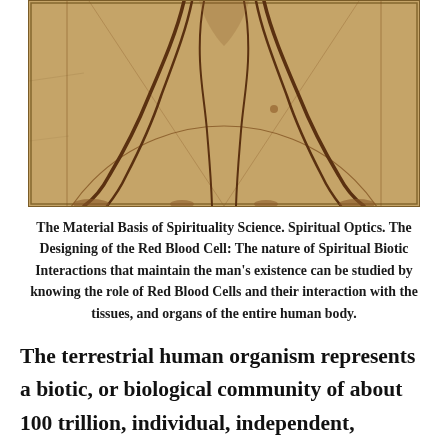[Figure (illustration): Vitruvian Man illustration (lower portion showing legs and circle/square geometric framework), sepia-toned drawing in the style of Leonardo da Vinci]
The Material Basis of Spirituality Science. Spiritual Optics. The Designing of the Red Blood Cell: The nature of Spiritual Biotic Interactions that maintain the man's existence can be studied by knowing the role of Red Blood Cells and their interaction with the tissues, and organs of the entire human body.
The terrestrial human organism represents a biotic, or biological community of about 100 trillion, individual, independent,